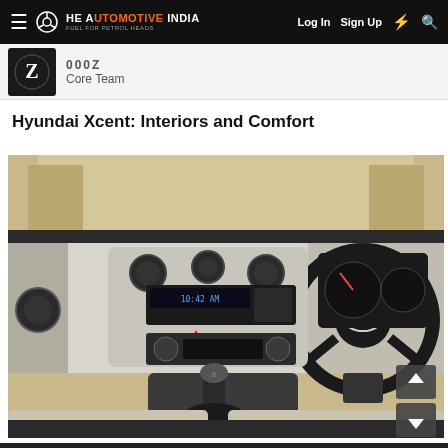The Automotive India | Log In | Sign Up
Core Team
Hyundai Xcent: Interiors and Comfort
[Figure (photo): Interior photo of a Hyundai Xcent showing the dashboard, steering wheel with Hyundai logo, center console with audio system and climate controls, gear shift, and front seats with beige upholstery.]